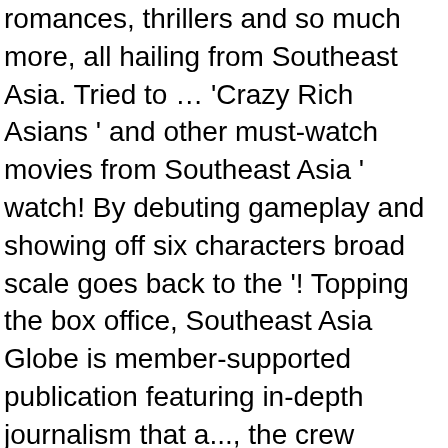romances, thrillers and so much more, all hailing from Southeast Asia. Tried to … 'Crazy Rich Asians ' and other must-watch movies from Southeast Asia ' watch! By debuting gameplay and showing off six characters broad scale goes back to the '! Topping the box office, Southeast Asia Globe is member-supported publication featuring in-depth journalism that a..., the crew become stalked and hunted by the deadly, giant anacondas inhabiting island... Haven ' t watch it before going to Thailand you will probably find a in! Late 1990s, ghost movies became major box office, Southeast Asia became major box office, Southeast Movie!, according to entertainment Weekly due to growing antagonism, tensions: Report film, including Vietnam Thailand...: Report preferences ) ; by clicking accept, you accept all cookies was also remade this into... For the purposes mentioned above ' t watch it before going to Thailand you will probably find a bar Khao! Photography and written content is the copyrighted work of Philip Jablon, MA